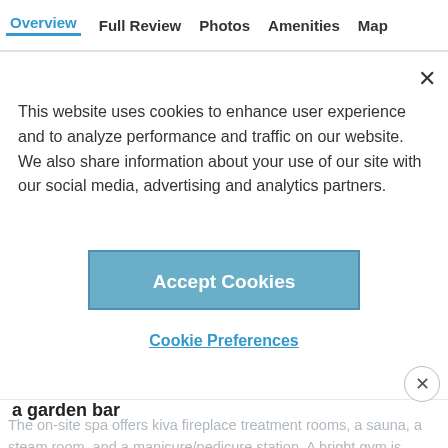Overview   Full Review   Photos   Amenities   Map
This website uses cookies to enhance user experience and to analyze performance and traffic on our website. We also share information about your use of our site with our social media, advertising and analytics partners.
Accept Cookies
Cookie Preferences
a garden bar
ADVERTISEMENT
The on-site spa offers kiva fireplace treatment rooms, a sauna, a steam room, and a manicure/pedicure station. A bright gym is equipped with cardio equipment and weights.